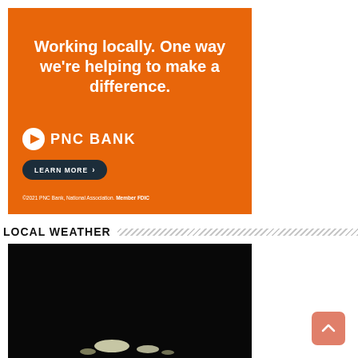[Figure (other): PNC Bank advertisement banner with orange background. Text reads 'Working locally. One way we're helping to make a difference.' with PNC Bank logo, LEARN MORE button, and footer '©2021 PNC Bank, National Association. Member FDIC']
LOCAL WEATHER
[Figure (photo): Night webcam image labeled 'Ben Hill Griffin Stadium Camera' showing dark stadium with light streaks at bottom]